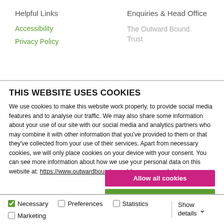Helpful Links | Enquiries & Head Office | Accessibility | Privacy Policy | The Outward Bound Trust
THIS WEBSITE USES COOKIES
We use cookies to make this website work properly, to provide social media features and to analyse our traffic. We may also share some information about your use of our site with our social media and analytics partners who may combine it with other information that you've provided to them or that they've collected from your use of their services. Apart from necessary cookies, we will only place cookies on your device with your consent. You can see more information about how we use your personal data on this website at: https://www.outwardbound.org.uk/your-personal-data
Allow all cookies
Allow chosen cookies
Use necessary cookies only
Necessary | Preferences | Statistics | Marketing | Show details